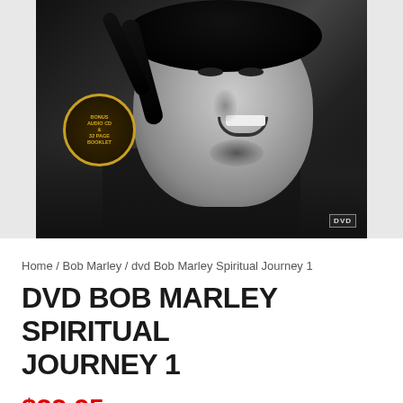[Figure (photo): DVD cover of Bob Marley Spiritual Journey 1 - black and white photo of Bob Marley smiling, with gold seal badge on lower left reading bonus audio CD & 32 page booklet, and DVD logo on lower right]
Home / Bob Marley / dvd Bob Marley Spiritual Journey 1
DVD BOB MARLEY SPIRITUAL JOURNEY 1
$32.95